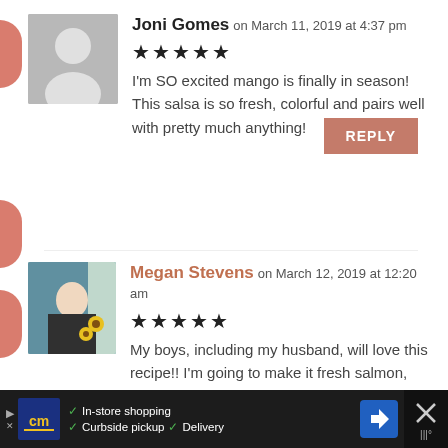[Figure (photo): Default grey avatar silhouette for Joni Gomes]
Joni Gomes on March 11, 2019 at 4:37 pm
★★★★★ (5 stars)
I'm SO excited mango is finally in season! This salsa is so fresh, colorful and pairs well with pretty much anything!
REPLY
[Figure (photo): Photo of Megan Stevens smiling, holding sunflowers]
Megan Stevens on March 12, 2019 at 12:20 am
★★★★★ (5 stars)
My boys, including my husband, will love this recipe!! I'm going to make it fresh salmon, and they will be very HAPPY!
[Figure (screenshot): Advertisement bar: cm logo, In-store shopping, Curbside pickup, Delivery, navigation arrow icon]